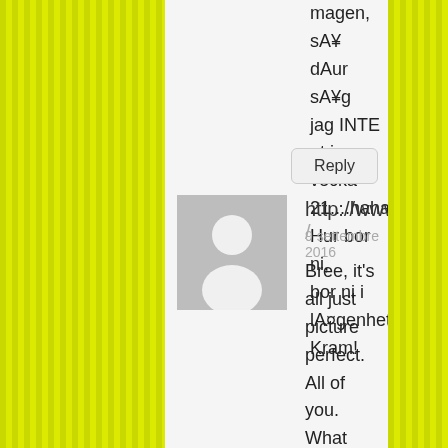magen, sA¥ dAur sA¥g jag INTE ut i vecka 21....haha. Hur bor ni, bor ni i lA¤genhet? Kram!
Reply
http://www./ 9 settembre 2016
[Figure (illustration): Generic user avatar placeholder icon — grey square with a white silhouette of a person]
Bree, it's all just picture perfect. All of you. What a gorgeous family. So touching and real. You'll all have beautiful memories of that day. You have been in our thoughts often recently. Big hugs xxx